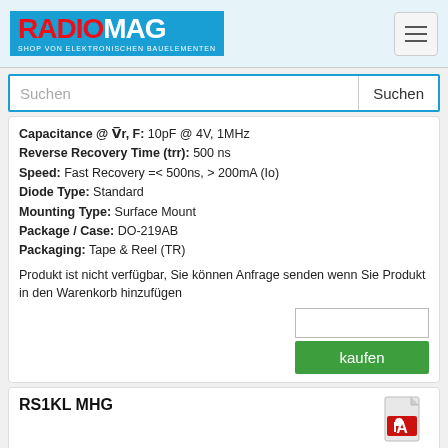RADIOMAG - SHOP VON ELEKTRONISCHEN BAUELEMENTEN
Suchen
Capacitance @ Vr, F: 10pF @ 4V, 1MHz
Reverse Recovery Time (trr): 500 ns
Speed: Fast Recovery =< 500ns, > 200mA (Io)
Diode Type: Standard
Mounting Type: Surface Mount
Package / Case: DO-219AB
Packaging: Tape & Reel (TR)
Produkt ist nicht verfügbar, Sie können Anfrage senden wenn Sie Produkt in den Warenkorb hinzufügen
kaufen
RS1KL MHG
Hersteller: Taiwan Semiconductor Corporation
Description: DIODE GEN PURP 800V 800MA SUBSMA
Packaging: Tape & Reel (TR)
Package / Case: DO-219AB
Mounting Type: Surface Mount